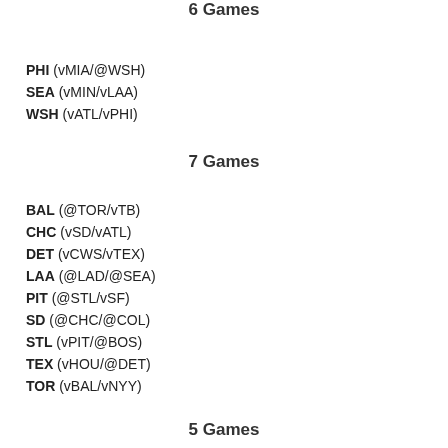6 Games
PHI (vMIA/@WSH)
SEA (vMIN/vLAA)
WSH (vATL/vPHI)
7 Games
BAL (@TOR/vTB)
CHC (vSD/vATL)
DET (vCWS/vTEX)
LAA (@LAD/@SEA)
PIT (@STL/vSF)
SD (@CHC/@COL)
STL (vPIT/@BOS)
TEX (vHOU/@DET)
TOR (vBAL/vNYY)
5 Games